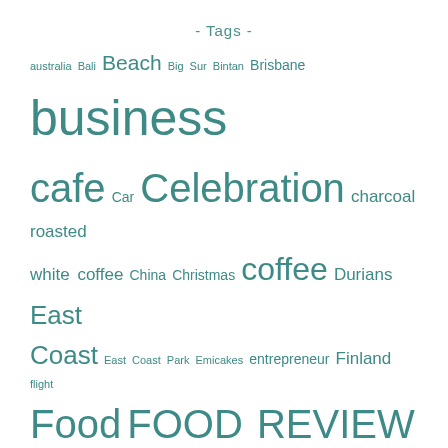- Tags -
australia Bali Beach Big Sur Bintan Brisbane business cafe Car Celebration charcoal roasted white coffee China Christmas coffee Durians East Coast East Coast Park Emicakes entrepreneur Finland flight Food FOOD REVIEW Fruits Gelang Patah Giveaway Gold Coast Harbin Ho Chi Minh City hotels Iceland Icelandic Indonesia interview Ipoh Japan joo chiat Katong Katong Kids Inc Kids Activities KidZania Kulai Lapland London Malaysia Marine Parade Moneysmart Mountain New York Okinawa OnlinesBooking